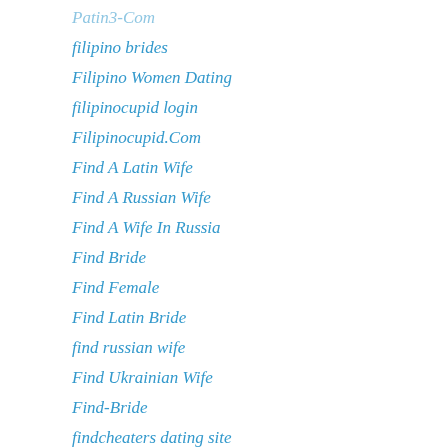Patin3-Com
filipino brides
Filipino Women Dating
filipinocupid login
Filipinocupid.Com
Find A Latin Wife
Find A Russian Wife
Find A Wife In Russia
Find Bride
Find Female
Find Latin Bride
find russian wife
Find Ukrainian Wife
Find-Bride
findcheaters dating site
First Payday Loans
firstmet reviews